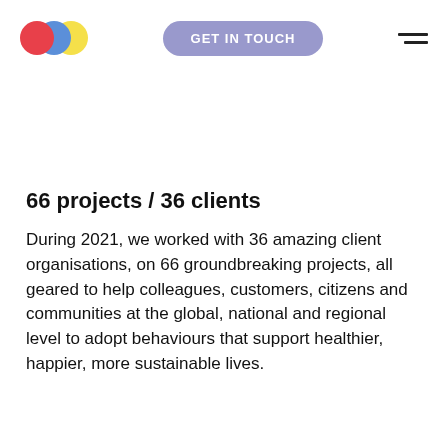GET IN TOUCH
66 projects / 36 clients
During 2021, we worked with 36 amazing client organisations, on 66 groundbreaking projects, all geared to help colleagues, customers, citizens and communities at the global, national and regional level to adopt behaviours that support healthier, happier, more sustainable lives.